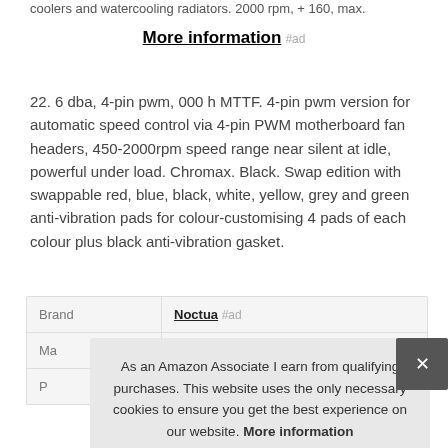coolers and watercooling radiators. 2000 rpm, + 160, max.
More information #ad
22. 6 dba, 4-pin pwm, 000 h MTTF. 4-pin pwm version for automatic speed control via 4-pin PWM motherboard fan headers, 450-2000rpm speed range near silent at idle, powerful under load. Chromax. Black. Swap edition with swappable red, blue, black, white, yellow, grey and green anti-vibration pads for colour-customising 4 pads of each colour plus black anti-vibration gasket.
|  |  |
| --- | --- |
| Brand | Noctua #ad |
| Ma |  |
| P |  |
As an Amazon Associate I earn from qualifying purchases. This website uses the only necessary cookies to ensure you get the best experience on our website. More information